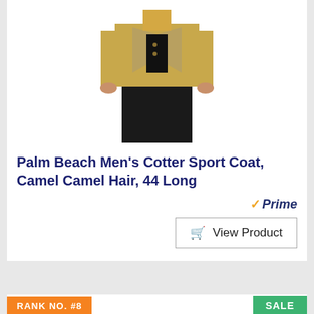[Figure (photo): Man wearing a camel/tan sport coat blazer over black shirt and pants, shown from neck to knees]
Palm Beach Men's Cotter Sport Coat, Camel Camel Hair, 44 Long
[Figure (logo): Amazon Prime badge with orange checkmark and italic Prime text]
View Product
RANK NO. #8
SALE
[Figure (photo): Large white gallon jug of Mane 'n Tail Moisturizer-Texturizer Conditioner product]